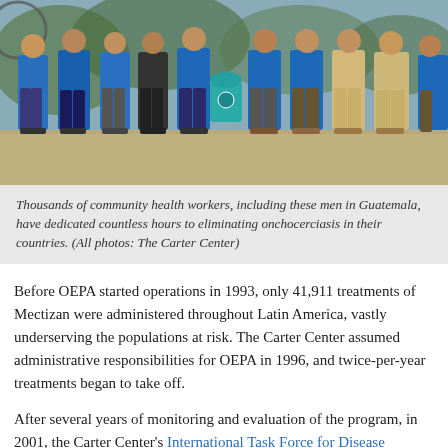[Figure (photo): Group of men in blue t-shirts standing together outdoors in Guatemala, likely community health workers. One carries a teal/green backpack. Dirt path and trees in background.]
Thousands of community health workers, including these men in Guatemala, have dedicated countless hours to eliminating onchocerciasis in their countries. (All photos: The Carter Center)
Before OEPA started operations in 1993, only 41,911 treatments of Mectizan were administered throughout Latin America, vastly underserving the populations at risk. The Carter Center assumed administrative responsibilities for OEPA in 1996, and twice-per-year treatments began to take off.
After several years of monitoring and evaluation of the program, in 2001, the Carter Center's International Task Force for Disease Eradication, in partnership with the World Health Organization, confirmed that river blindness could be eliminated from the